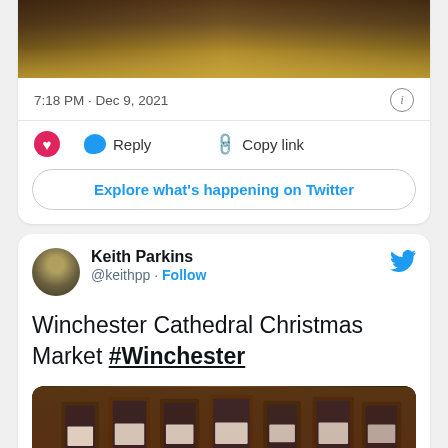[Figure (photo): Partial photo at top of first tweet card showing a surface with gold/brown tones]
7:18 PM · Dec 9, 2021
[Figure (infographic): Tweet action bar with heart (like), Reply button, Copy link button]
Explore what's happening on Twitter
[Figure (photo): Avatar of Keith Parkins - olive/khaki toned profile photo]
Keith Parkins @keithpp · Follow
Winchester Cathedral Christmas Market #Winchester
[Figure (photo): Photo of Christmas market stall showing framed artworks/prints displayed on a table, warm amber lighting]